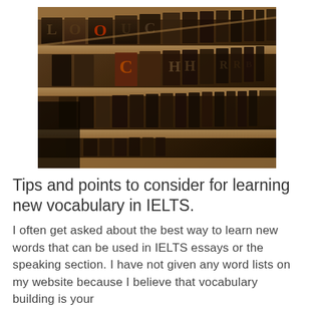[Figure (photo): A wooden type case drawer containing rows of vintage letterpress printing blocks (wooden type letters and symbols), photographed at an angle showing the blocks arranged in rows with a warm brown wooden background.]
Tips and points to consider for learning new vocabulary in IELTS.
I often get asked about the best way to learn new words that can be used in IELTS essays or the speaking section. I have not given any word lists on my website because I believe that vocabulary building is your